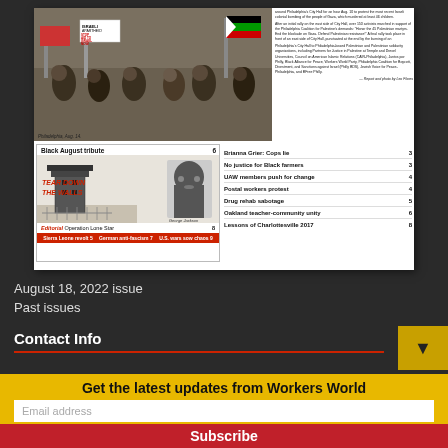[Figure (photo): Newspaper front page thumbnail showing protest photo at top and table of contents below]
[Figure (photo): Photo of protesters holding signs including 'Stop Aid to Israel Now' and Palestinian flags, Philadelphia Aug 14]
Report and photo by Leo Flores
[Figure (illustration): Black August tribute illustration showing prison tower with 'TEAR DOWN THE WALLS' text and portrait of George Jackson]
Black August tribute 6
Editorial Operation Lone Star 8
Sierra Leone revolt 5   German anti-fascism 7   U.S. wars sow chaos 9
Brianna Grier: Cops lie 3
No justice for Black farmers 3
UAW members push for change 4
Postal workers protest 4
Drug rehab sabotage 5
Oakland teacher-community unity 6
Lessons of Charlottesville 2017 8
August 18, 2022 issue
Past issues
Contact Info
Get the latest updates from Workers World
Email address
Subscribe